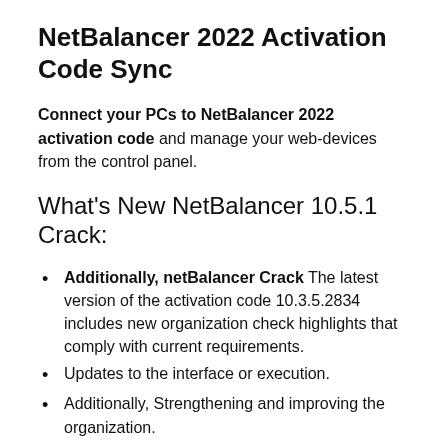NetBalancer 2022 Activation Code Sync
Connect your PCs to NetBalancer 2022 activation code and manage your web-devices from the control panel.
What's New NetBalancer 10.5.1 Crack:
Additionally, netBalancer Crack The latest version of the activation code 10.3.5.2834 includes new organization check highlights that comply with current requirements.
Updates to the interface or execution.
Additionally, Strengthening and improving the organization.